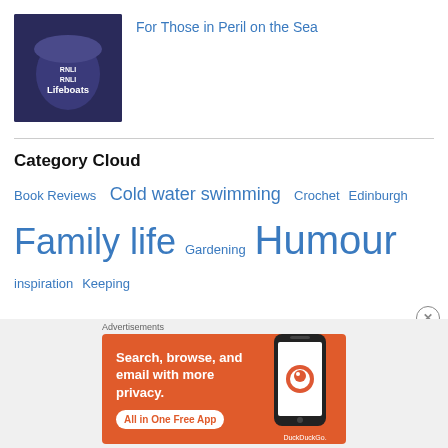[Figure (photo): Thumbnail image of a dark navy mug or thermos with 'Lifeboats' text on it]
For Those in Peril on the Sea
Category Cloud
Book Reviews  Cold water swimming  Crochet  Edinburgh  Family life  Gardening  Humour  inspiration  Keeping chickens  Life  Motivation  My Week in Pictures
Advertisements
[Figure (screenshot): DuckDuckGo advertisement banner: orange background with text 'Search, browse, and email with more privacy. All in One Free App' with DuckDuckGo logo and phone image]